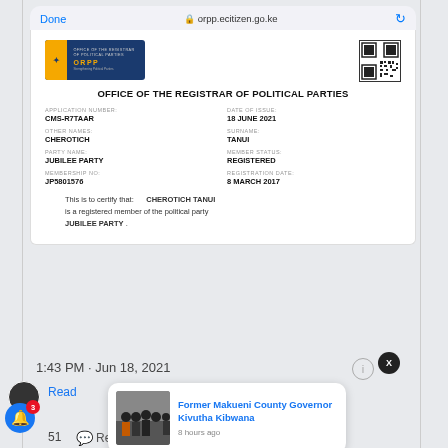[Figure (screenshot): Mobile browser screenshot showing orpp.ecitizen.go.ke with browser chrome including Done button, padlock icon, URL, and refresh button]
OFFICE OF THE REGISTRAR OF POLITICAL PARTIES
| FIELD | VALUE |
| --- | --- |
| APPLICATION NUMBER: | CMS-R7TAAR |
| DATE OF ISSUE: | 18 JUNE 2021 |
| OTHER NAMES: | CHEROTICH |
| SURNAME: | TANUI |
| PARTY NAME: | JUBILEE PARTY |
| MEMBER STATUS: | REGISTERED |
| MEMBERSHIP NO: | JP5801576 |
| REGISTRATION DATE: | 8 MARCH 2017 |
This is to certify that: CHEROTICH TANUI is a registered member of the political party JUBILEE PARTY .
1:43 PM · Jun 18, 2021
Read
Former Makueni County Governor Kivutha Kibwana
8 hours ago
51
Reply
Copy link